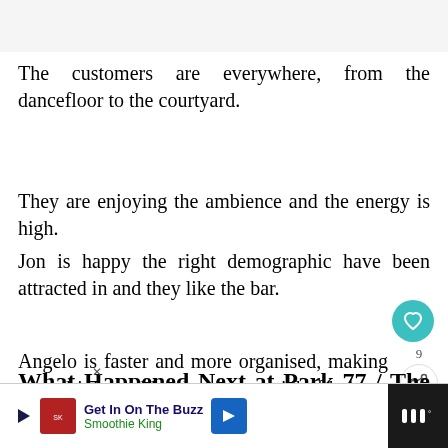The customers are everywhere, from the dancefloor to the courtyard.
They are enjoying the ambience and the energy is high.
Jon is happy the right demographic have been attracted in and they like the bar.
Angelo is faster and more organised, making great drinks and he shows potential of being a good manager.
What Happened Next at Park 77 / The Lis
[Figure (screenshot): Smoothie King advertisement banner at bottom of page with navigation and close icons]